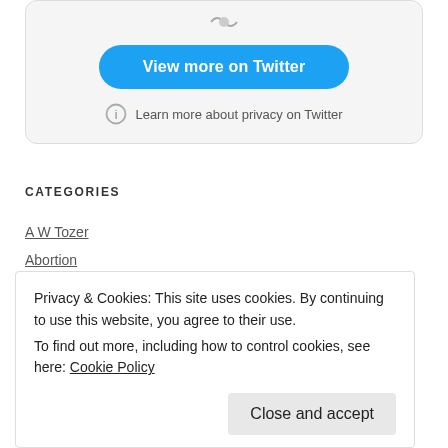[Figure (screenshot): Twitter embedded widget card with 'View more on Twitter' button and privacy info link]
CATEGORIES
A W Tozer
Abortion
Alan Dunlop
Privacy & Cookies: This site uses cookies. By continuing to use this website, you agree to their use.
To find out more, including how to control cookies, see here: Cookie Policy
Andrew Wommack